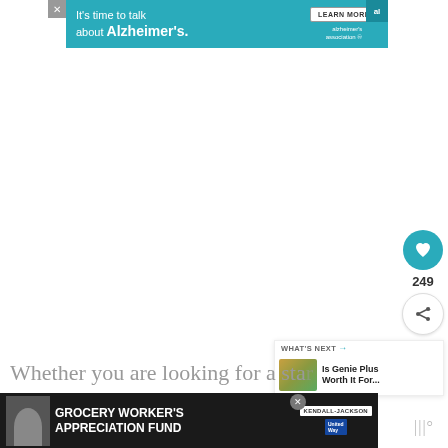[Figure (other): Alzheimer's Association advertisement banner: teal background, text 'It's time to talk about Alzheimer's.' with LEARN MORE button and alzheimer's association logo]
[Figure (other): Heart/like button (teal circle with heart icon), count 249, share button, and WHAT'S NEXT panel with thumbnail linking to 'Is Genie Plus Worth It For...']
Whether you are looking for a star... backpack, kids carry on luggage or even a
[Figure (other): Grocery Worker's Appreciation Fund advertisement with Kendall-Jackson and United Way logos, person photo on dark background]